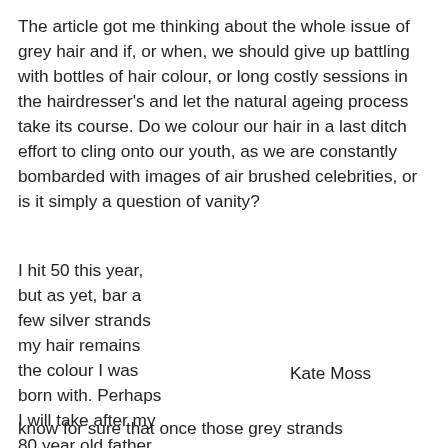The article got me thinking about the whole issue of grey hair and if, or when, we should give up battling with bottles of hair colour, or long costly sessions in the hairdresser's and let the natural ageing process take its course. Do we colour our hair in a last ditch effort to cling onto our youth, as we are constantly bombarded with images of air brushed celebrities, or is it simply a question of vanity?
I hit 50 this year, but as yet, bar a few silver strands my hair remains the colour I was born with. Perhaps I will take after my 80 year old father, who still hasn't gone completely grey, but if not I know for sure that once those grey strands
Kate Moss